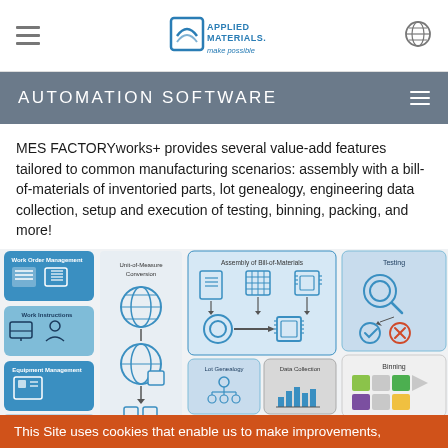Applied Materials – make possible (logo, navigation bar)
AUTOMATION SOFTWARE
MES FACTORYworks+ provides several value-add features tailored to common manufacturing scenarios: assembly with a bill-of-materials of inventoried parts, lot genealogy, engineering data collection, setup and execution of testing, binning, packing, and more!
[Figure (infographic): Diagram showing MES FACTORYworks+ modules: Work Order Management, Work Instructions, Equipment Management, Process Queue Times, Unit-of-Measure Conversion, Assembly of Bill-of-Materials, Lot Genealogy, Data Collection, Out-of-Control Action, Testing, Binning, Packing]
This Site uses cookies that enable us to make improvements,